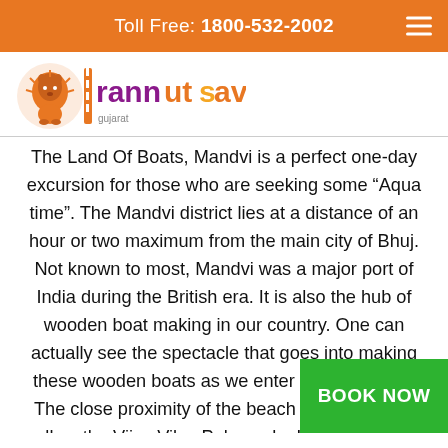Toll Free: 1800-532-2002
[Figure (logo): Rann Utsav logo with Gujarat lion and colorful text]
The Land Of Boats, Mandvi is a perfect one-day excursion for those who are seeking some “Aqua time”. The Mandvi district lies at a distance of an hour or two maximum from the main city of Bhuj. Not known to most, Mandvi was a major port of India during the British era. It is also the hub of wooden boat making in our country. One can actually see the spectacle that goes into making these wooden boats as we enter the town area. The close proximity of the beach to the town as well as the Vijay Vilas Palace aka Kutch palace let you enjoy the sunset on the beach with the be... that migrate here for winters, without wasting... Whether it’s a quiet camel ride on the beach or the